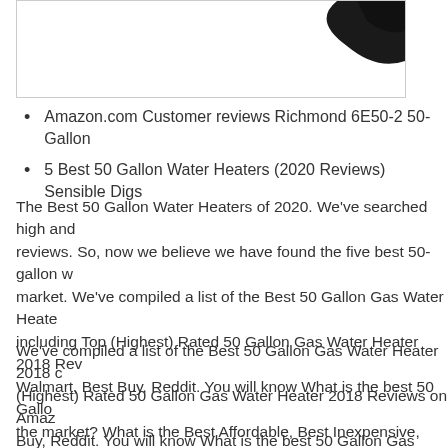[Figure (photo): Partial image of a water heater with a dark curved shape visible in the upper right, inside a bordered box.]
Amazon.com Customer reviews Richmond 6E50-2 50-Gallon
5 Best 50 Gallon Water Heaters (2020 Reviews) Sensible Digs
The Best 50 Gallon Water Heaters of 2020. We've searched high and reviews. So, now we believe we have found the five best 50-gallon w market. We've compiled a list of the Best 50 Gallon Gas Water Heate including Top (Highest) Rated 50 Gallon Gas Water Heater 2018 Rev Walmart, Best Buy, Reddit. You will know What is the best 50 Gallo the market? What is the Best Affordable, Best Inexpensive, Best Che
We've compiled a list of the Best 50 Gallon Gas Water Heater 2018 c (Highest) Rated 50 Gallon Gas Water Heater 2018 Reviews on Amaz Buy, Reddit. You will know What is the best 50 Gallon Gas Water He What is the Best Affordable, Best Inexpensive, Best Cheap Brands to